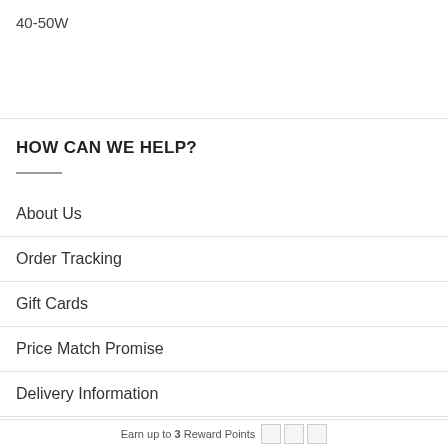40-50W
HOW CAN WE HELP?
About Us
Order Tracking
Gift Cards
Price Match Promise
Delivery Information
Refunds & Returns
Earn up to 3 Reward Points